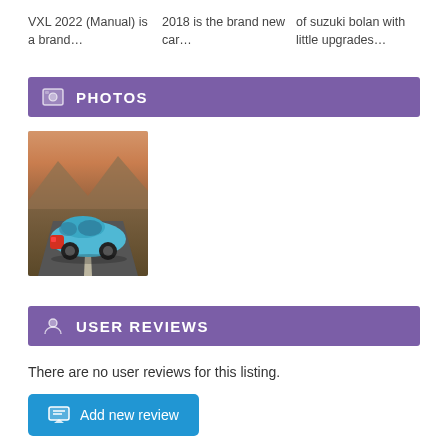VXL 2022 (Manual) is a brand…
2018 is the brand new car…
of suzuki bolan with little upgrades…
PHOTOS
[Figure (photo): Blue hatchback car driving on a road with mountains in the background]
USER REVIEWS
There are no user reviews for this listing.
Add new review